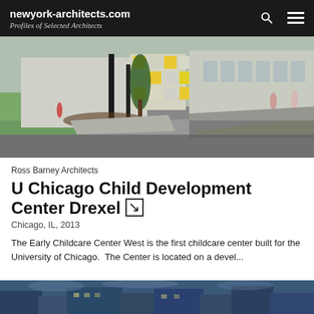newyork-architects.com — Profiles of Selected Architects
[Figure (photo): Exterior photo of U Chicago Child Development Center Drexel building with green landscaping, walkways, and colorful facade panels]
Ross Barney Architects
U Chicago Child Development Center Drexel
Chicago, IL, 2013
The Early Childcare Center West is the first childcare center built for the University of Chicago.  The Center is located on a devel...
[Figure (photo): Partial view of another building photo at the bottom of the page]